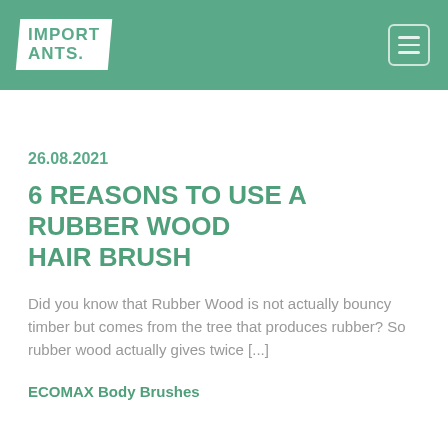IMPORT ANTS.
26.08.2021
6 REASONS TO USE A RUBBER WOOD HAIR BRUSH
Did you know that Rubber Wood is not actually bouncy timber but comes from the tree that produces rubber? So rubber wood actually gives twice [...]
ECOMAX Body Brushes